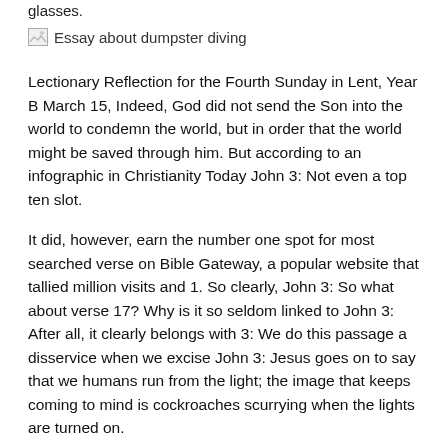glasses.
[Figure (other): Broken image icon with alt text: Essay about dumpster diving]
Lectionary Reflection for the Fourth Sunday in Lent, Year B March 15, Indeed, God did not send the Son into the world to condemn the world, but in order that the world might be saved through him. But according to an infographic in Christianity Today John 3: Not even a top ten slot.
It did, however, earn the number one spot for most searched verse on Bible Gateway, a popular website that tallied million visits and 1. So clearly, John 3: So what about verse 17? Why is it so seldom linked to John 3: After all, it clearly belongs with 3: We do this passage a disservice when we excise John 3: Jesus goes on to say that we humans run from the light; the image that keeps coming to mind is cockroaches scurrying when the lights are turned on.